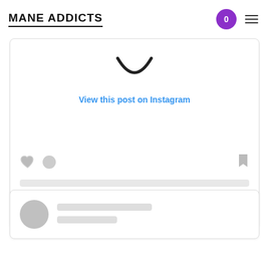[Figure (logo): MANE ADDICTS logo with underline, navigation icons including purple cart button showing 0 and hamburger menu]
[Figure (screenshot): Instagram post embed widget showing Instagram logo arc icon, 'View this post on Instagram' link in blue, interaction icons (heart, comment, bookmark), skeleton loading lines, and attribution text 'A post shared by 2R Hair Salon (@2rhair)']
View this post on Instagram
A post shared by 2R Hair Salon (@2rhair)
[Figure (screenshot): Second Instagram embed card showing skeleton loading state with circular avatar placeholder and two skeleton text lines]